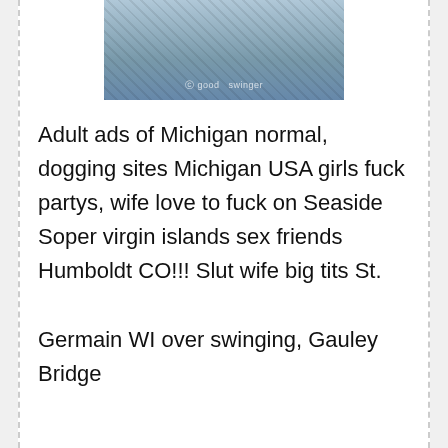[Figure (photo): Partial photo of a person's torso wearing fishnet top and jeans, with watermark text 'good... swinger']
Adult ads of Michigan normal, dogging sites Michigan USA girls fuck partys, wife love to fuck on Seaside Soper virgin islands sex friends Humboldt CO!!! Slut wife big tits St.

Germain WI over swinging, Gauley Bridge